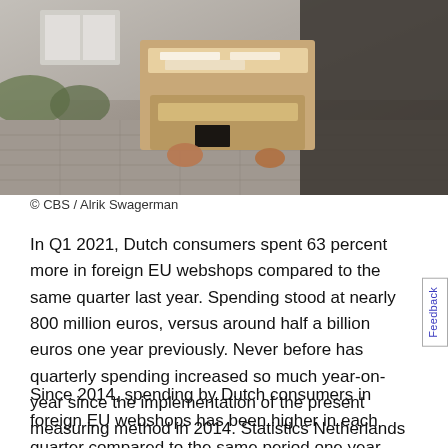[Figure (photo): A person carrying multiple cardboard packages/parcels, outdoor setting with brick pavement and building in background. Delivery photo.]
© CBS / Alrik Swagerman
In Q1 2021, Dutch consumers spent 63 percent more in foreign EU webshops compared to the same quarter last year. Spending stood at nearly 800 million euros, versus around half a billion euros one year previously. Never before has quarterly spending increased so much year-on-year since the implementation of the present measuring method in 2014. Statistics Netherlands (CBS) reports this on the basis of an ongoing survey.
Since 2014, spending by Dutch consumers in foreign EU webshops has been higher in each quarter compared to the same period one year previously. In Q1 2014, Dutch